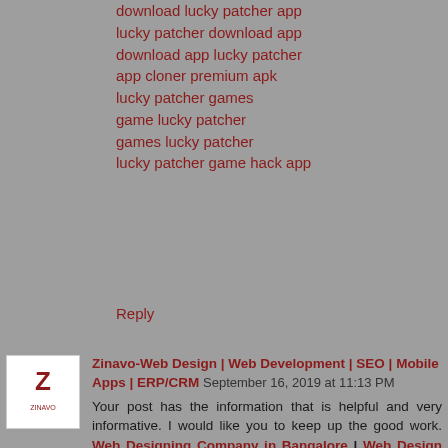download lucky patcher app
lucky patcher download app
download app lucky patcher
app cloner premium apk
lucky patcher games
game lucky patcher
games lucky patcher
lucky patcher game hack app
Reply
Zinavo-Web Design | Web Development | SEO | Mobile Apps | ERP/CRM September 16, 2019 at 11:13 PM
Your post has the information that is helpful and very informative. I would like you to keep up the good work. Web Designing Company in Bangalore | Web Design Companies in Bangalore | Website Development Company in Bangalore | Web Development Company in Bangalore | Website Design Company in Bangalore
Reply